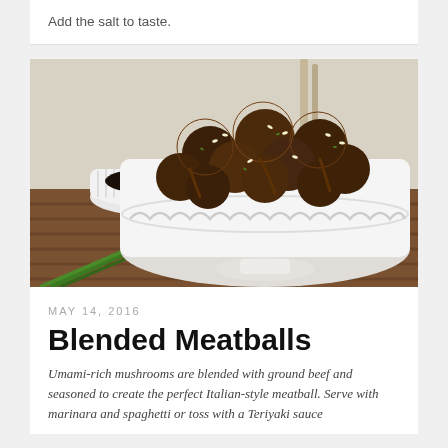Add the salt to taste.
[Figure (photo): A white decorative bowl filled with glazed meatballs topped with sesame seeds and green herbs, placed on a wooden slatted surface. A small white ramekin with dark dipping sauce is in the background. Some green onion stalks are visible in the foreground.]
MAY 14, 2016
Blended Meatballs
Umami-rich mushrooms are blended with ground beef and seasoned to create the perfect Italian-style meatball. Serve with marinara and spaghetti or toss with a Teriyaki sauce